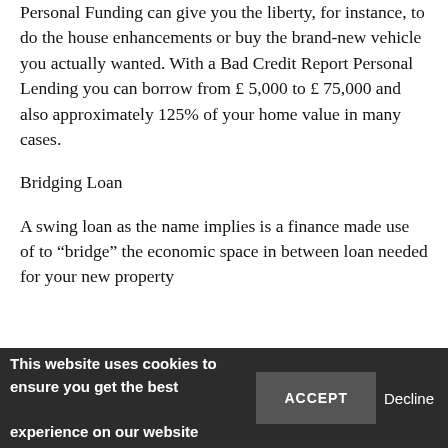Personal Funding can give you the liberty, for instance, to do the house enhancements or buy the brand-new vehicle you actually wanted. With a Bad Credit Report Personal Lending you can borrow from £ 5,000 to £ 75,000 and also approximately 125% of your home value in many cases.
Bridging Loan
A swing loan as the name implies is a finance made use of to “bridge” the economic space in between loan needed for your new property
This website uses cookies to ensure you get the best experience on our website